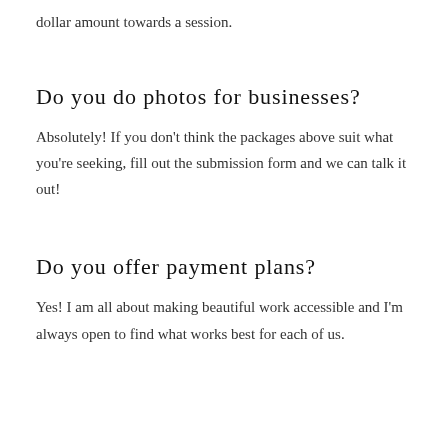dollar amount towards a session.
Do you do photos for businesses?
Absolutely! If you don't think the packages above suit what you're seeking, fill out the submission form and we can talk it out!
Do you offer payment plans?
Yes! I am all about making beautiful work accessible and I'm always open to find what works best for each of us.